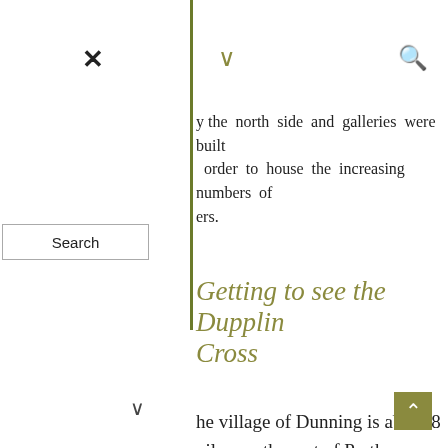× ∨ 🔍
y the north side and galleries were built order to house the increasing numbers of ers.
Search
Getting to see the Dupplin Cross
Hazel
skull – a
The village of Dunning is about 8 miles south-west of Perth, on the edge of the Ochil Hills. St Serf's Church is in the care of Historic Scotland, and is open from April to September (9.30 to 4.30 pm). Admission is free.